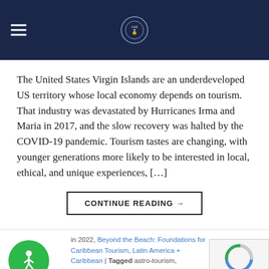Navigation header with logo
The United States Virgin Islands are an underdeveloped US territory whose local economy depends on tourism. That industry was devastated by Hurricanes Irma and Maria in 2017, and the slow recovery was halted by the COVID-19 pandemic. Tourism tastes are changing, with younger generations more likely to be interested in local, ethical, and unique experiences, [...]
CONTINUE READING →
in 2022, Beyond the Beach: Foundations for Caribbean Tourism, Latin America + Caribbean | Tagged astro-tourism, Caribbean, USA